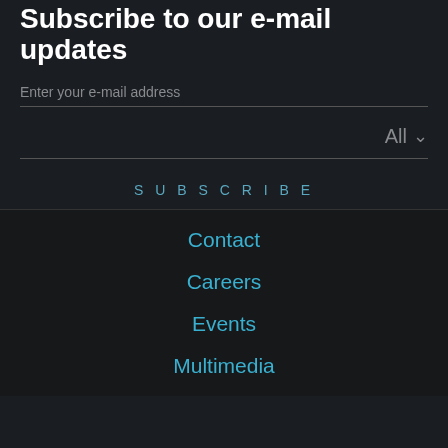Subscribe to our e-mail updates
Enter your e-mail address
All
SUBSCRIBE
Contact
Careers
Events
Multimedia